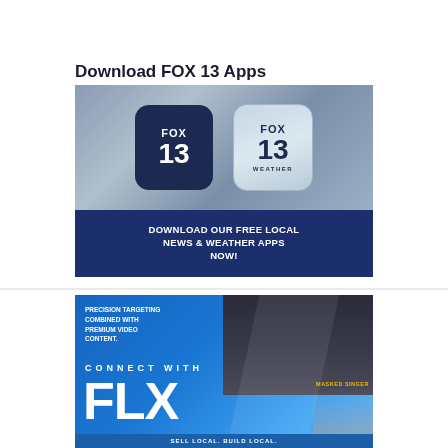Download FOX 13 Apps
[Figure (photo): FOX 13 app download banner showing FOX 13 news and FOX 13 Weather app icons above a dark blue bar reading DOWNLOAD OUR FREE LOCAL NEWS & WEATHER APPS NOW!]
[Figure (photo): FLX advertising banner with text PRECISION TARGETING COMBINED WITH PREMIUM VIDEO CONTENT. CONNECT WITH FLX on a blue background with a TV showing Masked Singer content and a person in the lower right]